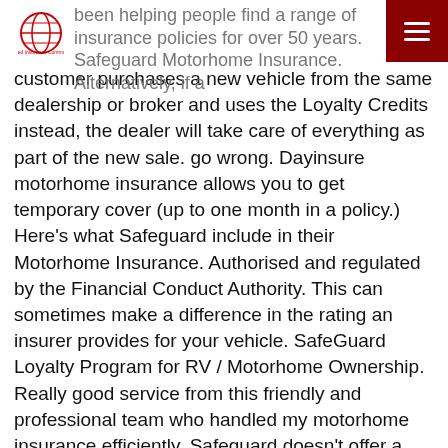been helping people find a range of insurance policies for over 50 years. Safeguard Motorhome Insurance. Alternatively, if a
customer purchases a new vehicle from the same dealership or broker and uses the Loyalty Credits instead, the dealer will take care of everything as part of the new sale. go wrong. Dayinsure motorhome insurance allows you to get temporary cover (up to one month in a policy.) Here's what Safeguard include in their Motorhome Insurance. Authorised and regulated by the Financial Conduct Authority. This can sometimes make a difference in the rating an insurer provides for your vehicle. SafeGuard Loyalty Program for RV / Motorhome Ownership. Really good service from this friendly and professional team who handled my motorhome insurance efficiently. Safeguard doesn't offer a short term or temporary Motorhome Insurance policy. Store in a safe location — Keeping your motorhome somewhere safe when it's not in use can help reduce the price you pay for insurance. Safeguard: Date Added/Modified: 15/02/2007: Swinton House 6 Great Marlborough Street Manchester Lancashire M1 5SW 0800 138 9694: Insurance available for RVs : European Breakdown Assistance: UK Breakdown Assistance: European Travel … The Sky Traveller boasts a spacious interior with a large double bed